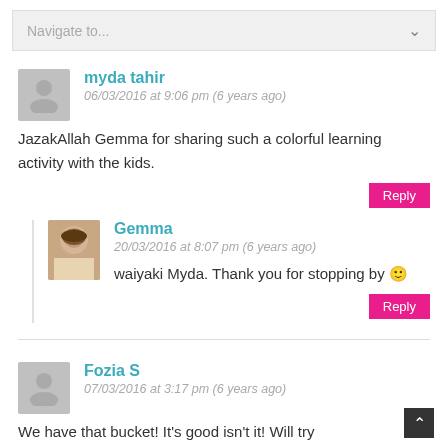Navigate to...
myda tahir
06/03/2016 at 9:06 pm (6 years ago)
JazakAllah Gemma for sharing such a colorful learning activity with the kids.
Reply
Gemma
20/03/2016 at 8:07 pm (6 years ago)
waiyaki Myda. Thank you for stopping by 🙂
Reply
Fozia S
07/03/2016 at 3:17 pm (6 years ago)
We have that bucket! It's good isn't it! Will try